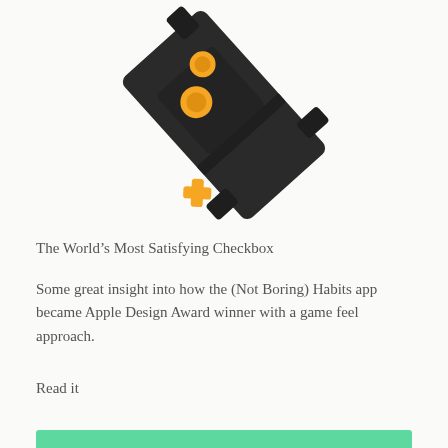[Figure (photo): A 3D rendered dark grey/black geometric connector piece rotated at an angle, with two yellow circles on top and a yellow X shape on the left side.]
The World’s Most Satisfying Checkbox
Some great insight into how the (Not Boring) Habits app became Apple Design Award winner with a game feel approach.
Read it